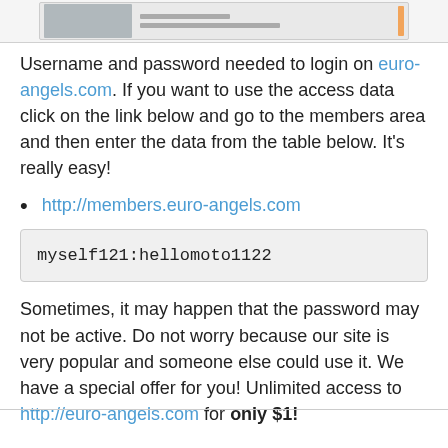[Figure (screenshot): Partial screenshot of a website page showing an image and some text lines]
Username and password needed to login on euro-angels.com. If you want to use the access data click on the link below and go to the members area and then enter the data from the table below. It's really easy!
http://members.euro-angels.com
myself121:hellomoto1122
Sometimes, it may happen that the password may not be active. Do not worry because our site is very popular and someone else could use it. We have a special offer for you! Unlimited access to http://euro-angels.com for only $1!